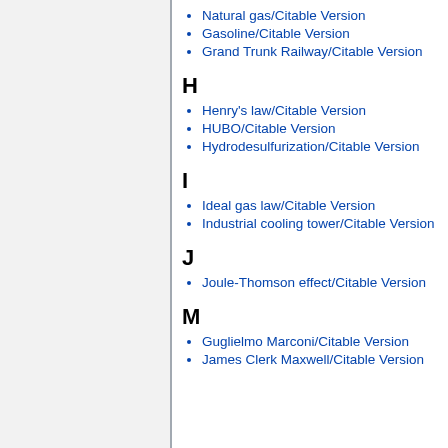Natural gas/Citable Version
Gasoline/Citable Version
Grand Trunk Railway/Citable Version
H
Henry's law/Citable Version
HUBO/Citable Version
Hydrodesulfurization/Citable Version
I
Ideal gas law/Citable Version
Industrial cooling tower/Citable Version
J
Joule-Thomson effect/Citable Version
M
Guglielmo Marconi/Citable Version
James Clerk Maxwell/Citable Version